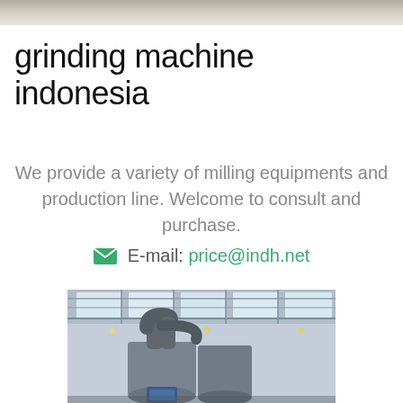grinding machine indonesia
We provide a variety of milling equipments and production line. Welcome to consult and purchase.
E-mail: price@indh.net
[Figure (photo): Industrial grinding machine inside a factory warehouse, showing large cylindrical equipment with pipes and ducts, under a metal roof structure with skylights.]